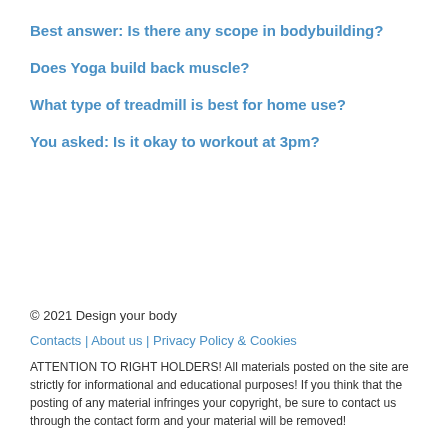Best answer: Is there any scope in bodybuilding?
Does Yoga build back muscle?
What type of treadmill is best for home use?
You asked: Is it okay to workout at 3pm?
© 2021 Design your body
Contacts | About us | Privacy Policy & Cookies
ATTENTION TO RIGHT HOLDERS! All materials posted on the site are strictly for informational and educational purposes! If you think that the posting of any material infringes your copyright, be sure to contact us through the contact form and your material will be removed!